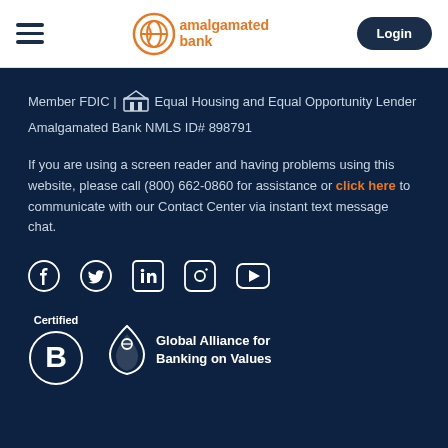Amalgamated Bank — Login
Member FDIC | Equal Housing and Equal Opportunity Lender
Amalgamated Bank NMLS ID# 898791
If you are using a screen reader and having problems using this website, please call (800) 662-0860 for assistance or click here to communicate with our Contact Center via instant text message chat.
[Figure (infographic): Social media icons: Facebook, Twitter, LinkedIn, Instagram, YouTube]
[Figure (logo): Certified B Corporation logo and Global Alliance for Banking on Values badge]